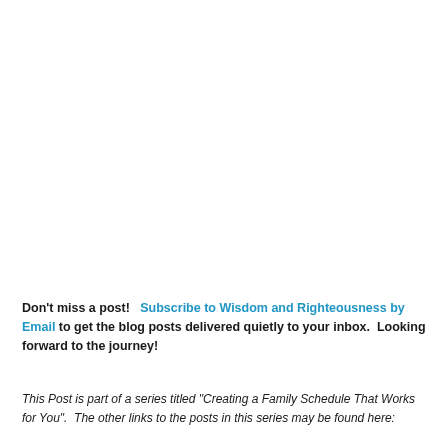Don't miss a post!   Subscribe to Wisdom and Righteousness by Email to get the blog posts delivered quietly to your inbox.  Looking forward to the journey!
This Post is part of a series titled "Creating a Family Schedule That Works for You".  The other links to the posts in this series may be found here: